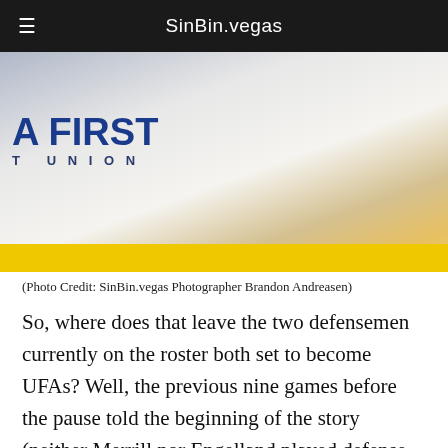SinBin.vegas
[Figure (photo): Hockey players along the boards at a Vegas Golden Knights game; rink boards show 'A FIRST T UNION' (Nevada First Credit Union) branding and a cursive 'wh' logo; SinBin.vegas puck logo visible on the boards; yellow kick-plate at bottom.]
(Photo Credit: SinBin.vegas Photographer Brandon Andreasen)
So, where does that leave the two defensemen currently on the roster both set to become UFAs? Well, the previous nine games before the pause told the beginning of the story (neither Merrill nor Engelland played defense in any of them), Whitecloud and Holden's extensions tell the middle, and now the end will have to